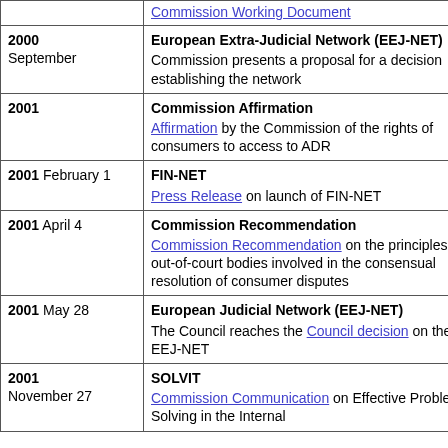| Date | Event |
| --- | --- |
|  | Commission Working Document |
| 2000 September | European Extra-Judicial Network (EEJ-NET)
Commission presents a proposal for a decision establishing the network |
| 2001 | Commission Affirmation
Affirmation by the Commission of the rights of consumers to access to ADR |
| 2001 February 1 | FIN-NET
Press Release on launch of FIN-NET |
| 2001 April 4 | Commission Recommendation
Commission Recommendation on the principles for out-of-court bodies involved in the consensual resolution of consumer disputes |
| 2001 May 28 | European Judicial Network (EEJ-NET)
The Council reaches the Council decision on the EEJ-NET |
| 2001 November 27 | SOLVIT
Commission Communication on Effective Problem Solving in the Internal |